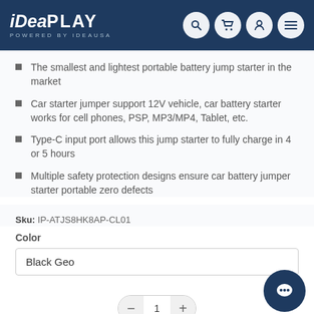[Figure (logo): iDeaPLAY logo with navigation icons (search, cart, user, menu) on dark blue header background]
The smallest and lightest portable battery jump starter in the market
Car starter jumper support 12V vehicle, car battery starter works for cell phones, PSP, MP3/MP4, Tablet, etc.
Type-C input port allows this jump starter to fully charge in 4 or 5 hours
Multiple safety protection designs ensure car battery jumper starter portable zero defects
Sku: IP-ATJS8HK8AP-CL01
Color
Black Geo